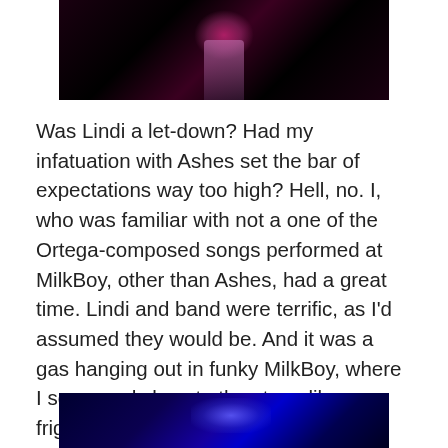[Figure (photo): Dark concert photo showing a performer on stage with pink/magenta lighting from above, dark background, taken from audience perspective]
Was Lindi a let-down? Had my infatuation with Ashes set the bar of expectations way too high? Hell, no. I, who was familiar with not a one of the Ortega-composed songs performed at MilkBoy, other than Ashes, had a great time. Lindi and band were terrific, as I'd assumed they would be. And it was a gas hanging out in funky MilkBoy, where I squeezed close to the stage like a frigging fanboy, inches away from a gaggle of new-found, swaying and shimmying friends.
[Figure (photo): Dark concert photo with blue/purple stage lighting, bottom portion of image visible]